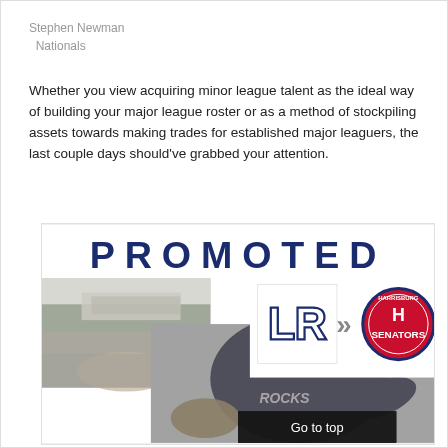Stephen Newman
  Nationals
Whether you view acquiring minor league talent as the ideal way of building your major league roster or as a method of stockpiling assets towards making trades for established major leaguers, the last couple days should've grabbed your attention.
[Figure (photo): A 'PROMOTED' graphic banner with baseball team logos (Lynchburg Rocks and Harrisburg Senators) and a player in a Rocks uniform throwing a baseball, with a baseball stadium in the background.]
Go to top